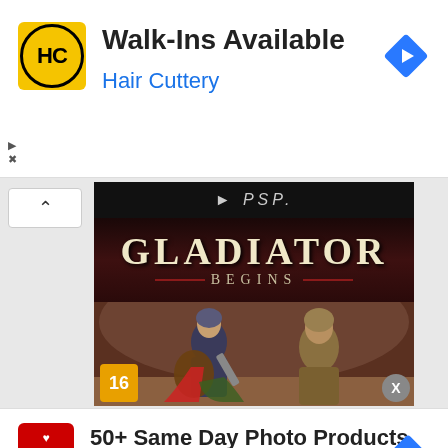[Figure (screenshot): Hair Cuttery advertisement banner with HC logo, Walk-Ins Available text, navigation arrow diamond icon, and ad controls]
[Figure (screenshot): PSP game cover art for Gladiator Begins showing two gladiators fighting in an arena, with PSP logo at top, Gladiator Begins title, age rating 16 badge, and close button]
[Figure (screenshot): CVS Pharmacy advertisement banner with CVS logo, 50+ Same Day Photo Products text, CVS Photo subtitle, navigation arrow diamond icon, and ad controls]